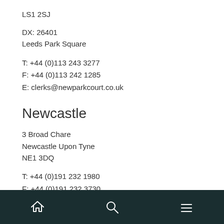LS1 2SJ
DX: 26401
Leeds Park Square
T: +44 (0)113 243 3277
F: +44 (0)113 242 1285
E: clerks@newparkcourt.co.uk
Newcastle
3 Broad Chare
Newcastle Upon Tyne
NE1 3DQ
T: +44 (0)191 232 1980
F: +44 (0)191 232 3730
E: clerks@newparkcourt.co.uk
home search menu